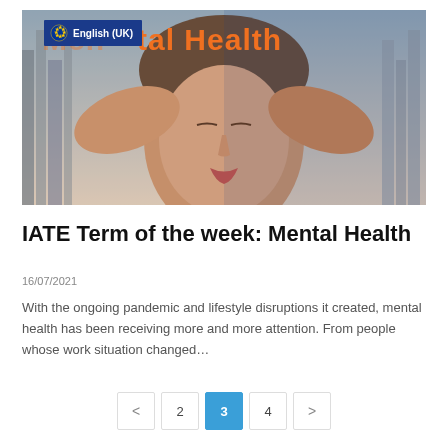[Figure (photo): Woman with eyes closed, hands on head, with city background. Text overlay reads 'Mental Health' in orange. EU/English (UK) badge in top left corner.]
IATE Term of the week: Mental Health
16/07/2021
With the ongoing pandemic and lifestyle disruptions it created, mental health has been receiving more and more attention. From people whose work situation changed...